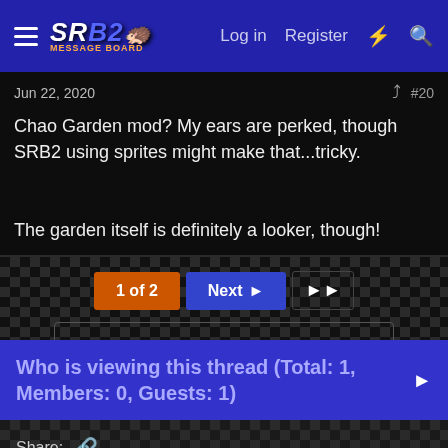SRB2 Message Board — Log in  Register
Jun 22, 2020  #20
Chao Garden mod? My ears are perked, though SRB2 using sprites might make that...tricky.

The garden itself is definitely a looker, though!
1 of 2   Next ▶   ▶▶
You must log in or register to reply here.
Who is viewing this thread (Total: 1, Members: 0, Guests: 1)
Share: